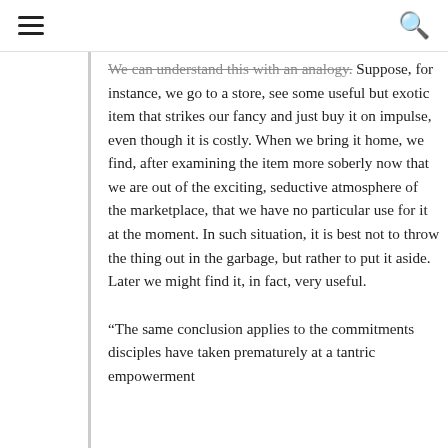≡  [hamburger menu]  [search icon]
We can understand this with an analogy. Suppose, for instance, we go to a store, see some useful but exotic item that strikes our fancy and just buy it on impulse, even though it is costly. When we bring it home, we find, after examining the item more soberly now that we are out of the exciting, seductive atmosphere of the marketplace, that we have no particular use for it at the moment. In such situation, it is best not to throw the thing out in the garbage, but rather to put it aside. Later we might find it, in fact, very useful.
“The same conclusion applies to the commitments disciples have taken prematurely at a tantric empowerment